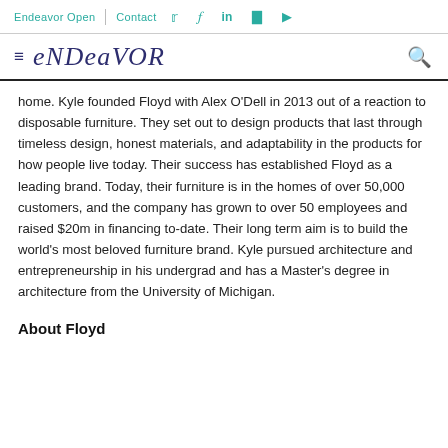Endeavor Open  Contact  [twitter] [facebook] [linkedin] [instagram] [youtube]
eNDeavOR
home. Kyle founded Floyd with Alex O'Dell in 2013 out of a reaction to disposable furniture. They set out to design products that last through timeless design, honest materials, and adaptability in the products for how people live today. Their success has established Floyd as a leading brand. Today, their furniture is in the homes of over 50,000 customers, and the company has grown to over 50 employees and raised $20m in financing to-date. Their long term aim is to build the world's most beloved furniture brand. Kyle pursued architecture and entrepreneurship in his undergrad and has a Master's degree in architecture from the University of Michigan.
About Floyd